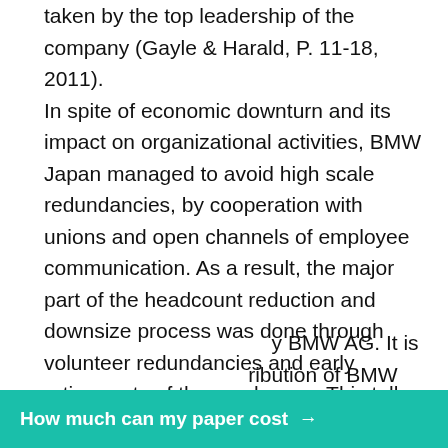taken by the top leadership of the company (Gayle & Harald, P. 11-18, 2011). In spite of economic downturn and its impact on organizational activities, BMW Japan managed to avoid high scale redundancies, by cooperation with unions and open channels of employee communication. As a result, the major part of the headcount reduction and downsize process was done through volunteer redundancies and early retirements of the employees. This talks in favor trust and work-time relationships that build on sustainable leadership. The Canada based BMW Group commonly known as BMW Canada Inc is another good example of exceptional leadership at BMW. This organization has not only stood the economic recession very well despite the fact that BMW manufactures luxury cars. y BMW AG. It is ribution of BMW
[Figure (other): Teal/green call-to-action banner button with white bold text reading 'How much can my paper cost →']